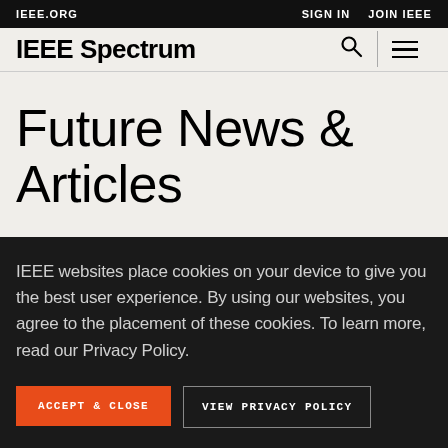IEEE.ORG    SIGN IN   JOIN IEEE
IEEE Spectrum
Future News & Articles
IEEE websites place cookies on your device to give you the best user experience. By using our websites, you agree to the placement of these cookies. To learn more, read our Privacy Policy.
ACCEPT & CLOSE   VIEW PRIVACY POLICY